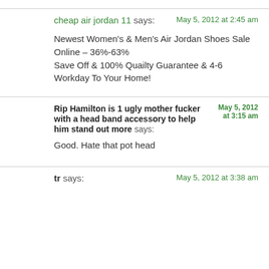cheap air jordan 11 says: May 5, 2012 at 2:45 am
Newest Women's & Men's Air Jordan Shoes Sale Online – 36%-63% Save Off & 100% Quailty Guarantee & 4-6 Workday To Your Home!
Rip Hamilton is 1 ugly mother fucker with a head band accessory to help him stand out more says: May 5, 2012 at 3:15 am
Good. Hate that pot head
tr says: May 5, 2012 at 3:38 am